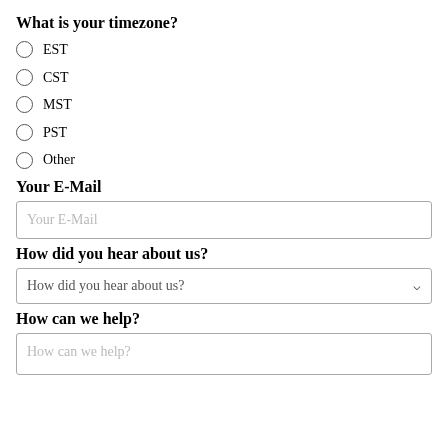What is your timezone?
EST
CST
MST
PST
Other
Your E-Mail
Your E-Mail
How did you hear about us?
How did you hear about us?
How can we help?
How can we help?